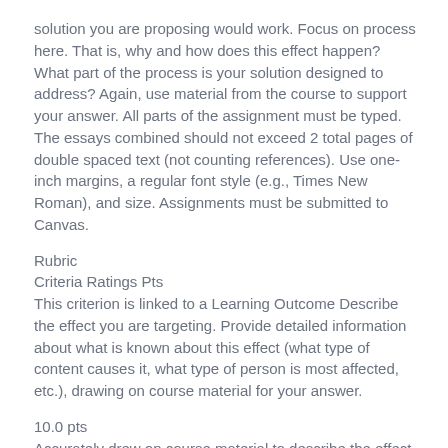solution you are proposing would work. Focus on process here. That is, why and how does this effect happen? What part of the process is your solution designed to address? Again, use material from the course to support your answer. All parts of the assignment must be typed. The essays combined should not exceed 2 total pages of double spaced text (not counting references). Use one-inch margins, a regular font style (e.g., Times New Roman), and size. Assignments must be submitted to Canvas.
Rubric
Criteria Ratings Pts
This criterion is linked to a Learning Outcome Describe the effect you are targeting. Provide detailed information about what is known about this effect (what type of content causes it, what type of person is most affected, etc.), drawing on course material for your answer.
10.0 pts
Accurately drew on course material to describe the effect in question and demonstrated a thorough understanding of the issue.